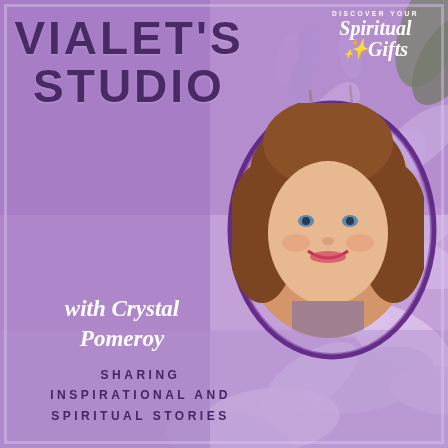[Figure (illustration): Promotional graphic for Vialet's Studio podcast/show featuring a purple lilac flower background, portrait photo of Crystal Pomeroy in an oval frame, title text, and tagline. Includes Discover Your Spiritual Gifts logo in top right corner.]
VIALET'S STUDIO
with Crystal Pomeroy
DISCOVER YOUR
Spiritual Gifts
SHARING INSPIRATIONAL AND SPIRITUAL STORIES